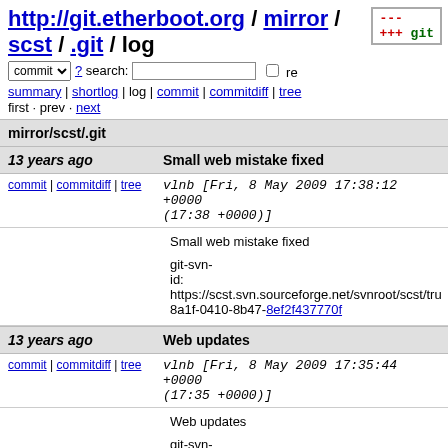http://git.etherboot.org / mirror / scst / .git / log
summary | shortlog | log | commit | commitdiff | tree
first · prev · next
mirror/scst/.git
13 years ago — Small web mistake fixed
commit | commitdiff | tree   vlnb [Fri, 8 May 2009 17:38:12 +0000 (17:38 +0000)]
Small web mistake fixed

git-svn-id: https://scst.svn.sourceforge.net/svnroot/scst/tru
8a1f-0410-8b47-8ef2f437770f
13 years ago — Web updates
commit | commitdiff | tree   vlnb [Fri, 8 May 2009 17:35:44 +0000 (17:35 +0000)]
Web updates

git-svn-id: https://scst.svn.sourceforge.net/svnroot/scst/...